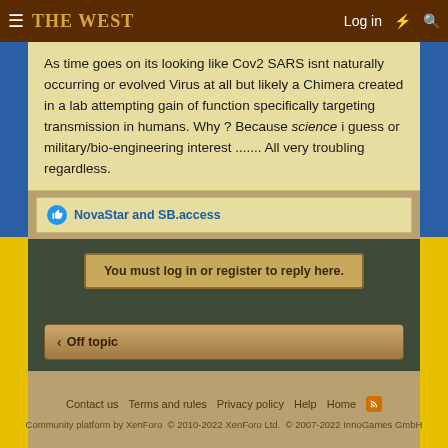The West — Log in
As time goes on its looking like Cov2 SARS isnt naturally occurring or evolved Virus at all but likely a Chimera created in a lab attempting gain of function specifically targeting transmission in humans. Why ? Because science i guess or military/bio-engineering interest ....... All very troubling regardless.
NovaStar and SB.access
You must log in or register to reply here.
Off topic
Contact us   Terms and rules   Privacy policy   Help   Home
Community platform by XenForo  © 2010-2022 XenForo Ltd.  © 2007-2022 InnoGames GmbH